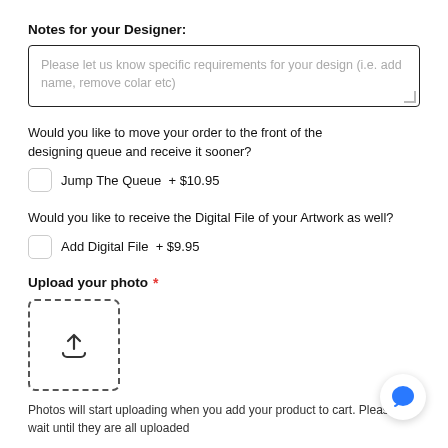Notes for your Designer:
Please let us know specific requirements for your design (i.e. add name, remove colar etc)
Would you like to move your order to the front of the designing queue and receive it sooner?
Jump The Queue  + $10.95
Would you like to receive the Digital File of your Artwork as well?
Add Digital File  + $9.95
Upload your photo *
[Figure (other): Upload photo button with dashed border and upload arrow icon]
Photos will start uploading when you add your product to cart. Please wait until they are all uploaded